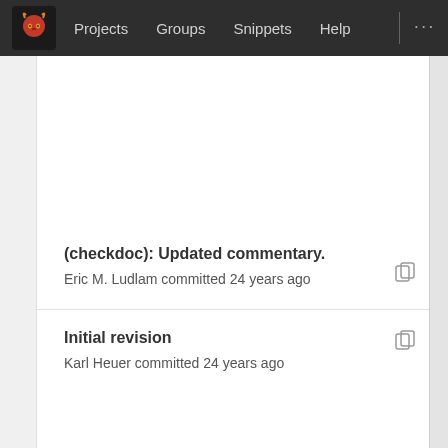Projects  Groups  Snippets  Help
(checkdoc): Updated commentary.
Eric M. Ludlam committed 24 years ago
Initial revision
Karl Heuer committed 24 years ago